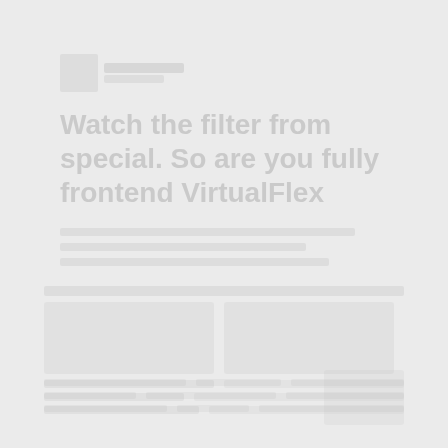[Figure (logo): Faint logo placeholder with square icon and text lines]
Watch the filter from special. So are you fully frontend VirtualFlex
[Faint placeholder text lines below title]
[Figure (photo): Faint content area with image placeholders and text rows at bottom of page]